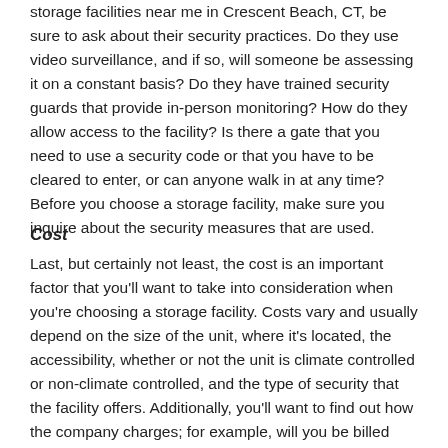storage facilities near me in Crescent Beach, CT, be sure to ask about their security practices. Do they use video surveillance, and if so, will someone be assessing it on a constant basis? Do they have trained security guards that provide in-person monitoring? How do they allow access to the facility? Is there a gate that you need to use a security code or that you have to be cleared to enter, or can anyone walk in at any time? Before you choose a storage facility, make sure you inquire about the security measures that are used.
Cost
Last, but certainly not least, the cost is an important factor that you'll want to take into consideration when you're choosing a storage facility. Costs vary and usually depend on the size of the unit, where it's located, the accessibility, whether or not the unit is climate controlled or non-climate controlled, and the type of security that the facility offers. Additionally, you'll want to find out how the company charges; for example, will you be billed monthly, or do you have to pay for several months, in advance? It's important to find out how payment is expected so that you don't incur late fees or risk losing your storage unit and your belongings that are stored inside of it.